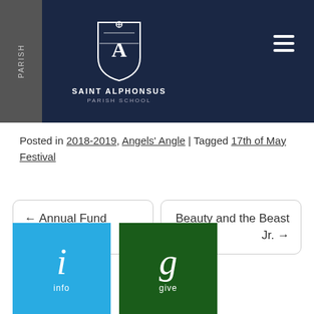PARISH — SAINT ALPHONSUS PARISH SCHOOL
Posted in 2018-2019, Angels' Angle | Tagged 17th of May Festival
← Annual Fund Contest
Beauty and the Beast Jr. →
[Figure (infographic): Blue tile with italic 'i' and label 'info']
[Figure (infographic): Dark green tile with italic 'g' and label 'give']